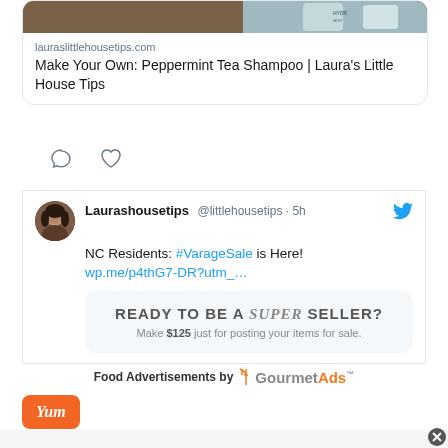[Figure (screenshot): Tweet card showing link preview for lauraslittlehousetips.com with title 'Make Your Own: Peppermint Tea Shampoo | Laura's Little House Tips' and social action icons (comment, heart)]
[Figure (screenshot): Tweet from Laurashousetips @littlehousetips 5h: NC Residents: #VarageSale is Here! wp.me/p4thG7-DR?utm_... with embedded ad card 'READY TO BE A SUPER SELLER? Make $125 just for posting your items for sale.']
Food Advertisements by GourmetAds
[Figure (logo): Yum orange button/logo]
[Figure (screenshot): Bottom gray bar with close button]